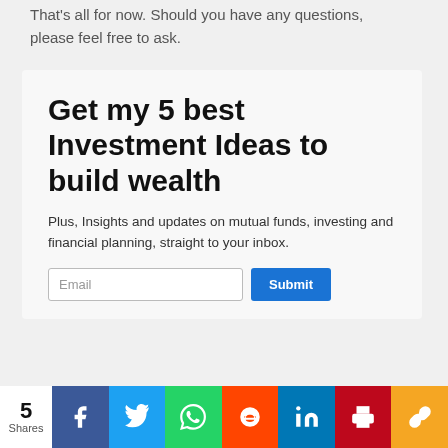That's all for now. Should you have any questions, please feel free to ask.
Get my 5 best Investment Ideas to build wealth
Plus, Insights and updates on mutual funds, investing and financial planning, straight to your inbox.
Email
Submit
5 Shares